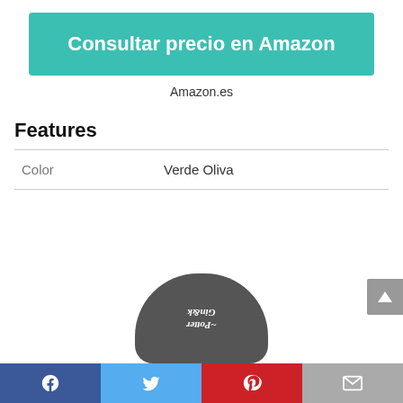[Figure (other): Teal/turquoise button labeled 'Consultar precio en Amazon' in white bold text]
Amazon.es
Features
| Color | Verde Oliva |
[Figure (photo): Bottom portion of a Harry Potter branded slipper/shoe shown upside down, dark colored with white text branding]
[Figure (other): Social media share bar with Facebook, Twitter, Pinterest, and email icons]